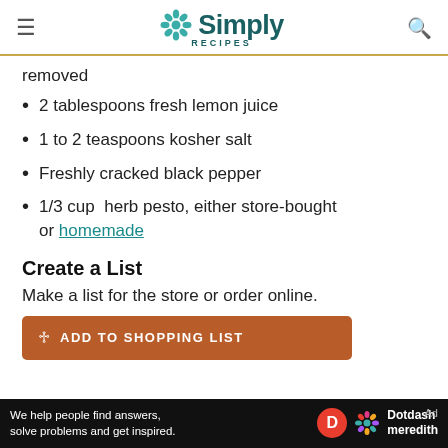Simply Recipes
removed
2 tablespoons fresh lemon juice
1 to 2 teaspoons kosher salt
Freshly cracked black pepper
1/3 cup  herb pesto, either store-bought or homemade
Create a List
Make a list for the store or order online.
ADD TO SHOPPING LIST